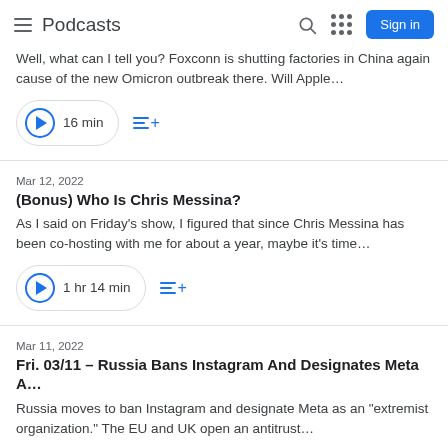Podcasts
Well, what can I tell you? Foxconn is shutting factories in China again cause of the new Omicron outbreak there. Will Apple…
16 min
Mar 12, 2022
(Bonus) Who Is Chris Messina?
As I said on Friday's show, I figured that since Chris Messina has been co-hosting with me for about a year, maybe it's time…
1 hr 14 min
Mar 11, 2022
Fri. 03/11 – Russia Bans Instagram And Designates Meta A…
Russia moves to ban Instagram and designate Meta as an "extremist organization." The EU and UK open an antitrust…
20 min